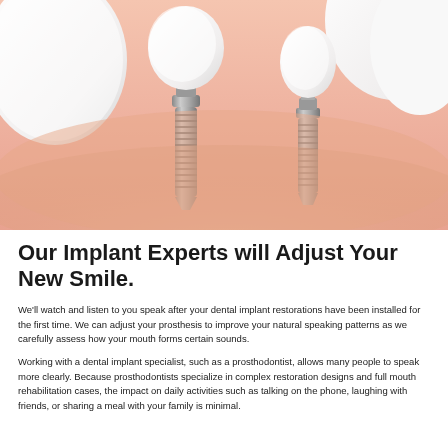[Figure (illustration): 3D medical illustration of dental implants showing two titanium screw implants inserted into pink gum tissue with white ceramic tooth crowns on top, viewed from the front with other natural teeth visible on the sides.]
Our Implant Experts will Adjust Your New Smile.
We'll watch and listen to you speak after your dental implant restorations have been installed for the first time. We can adjust your prosthesis to improve your natural speaking patterns as we carefully assess how your mouth forms certain sounds.
Working with a dental implant specialist, such as a prosthodontist, allows many people to speak more clearly. Because prosthodontists specialize in complex restoration designs and full mouth rehabilitation cases, the impact on daily activities such as talking on the phone, laughing with friends, or sharing a meal with your family is minimal.